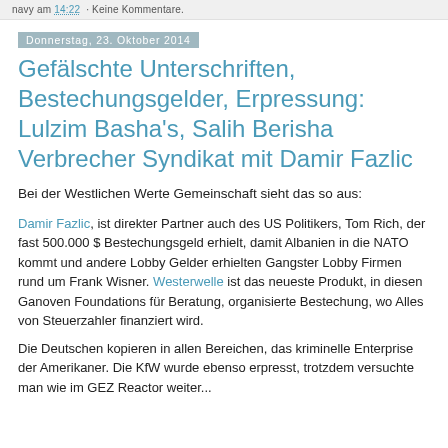navy am 14:22 · Keine Kommentare.
Donnerstag, 23. Oktober 2014
Gefälschte Unterschriften, Bestechungsgelder, Erpressung: Lulzim Basha's, Salih Berisha Verbrecher Syndikat mit Damir Fazlic
Bei der Westlichen Werte Gemeinschaft sieht das so aus:
Damir Fazlic, ist direkter Partner auch des US Politikers, Tom Rich, der fast 500.000 $ Bestechungsgeld erhielt, damit Albanien in die NATO kommt und andere Lobby Gelder erhielten Gangster Lobby Firmen rund um Frank Wisner. Westerwelle ist das neueste Produkt, in diesen Ganoven Foundations für Beratung, organisierte Bestechung, wo Alles von Steuerzahler finanziert wird.
Die Deutschen kopieren in allen Bereichen, das kriminelle Enterprise der Amerikaner. Die KfW wurde ebenso erpresst, trotzdem versuchte man wie im GEZ Reactor weiter...